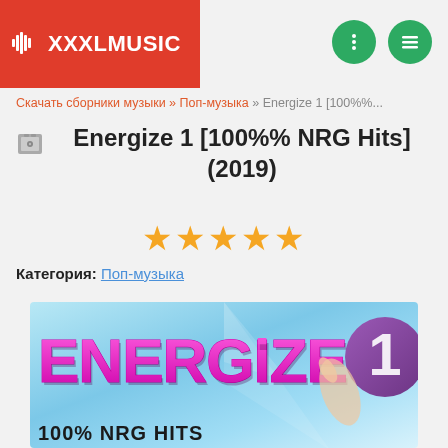XXXLMUSIC
Скачать сборники музыки » Поп-музыка » Energize 1 [100%%...
Energize 1 [100%% NRG Hits] (2019)
★★★★★
Категория: Поп-музыка
[Figure (illustration): Album cover art for Energize 1 [100%% NRG Hits] showing large stylized pink/purple ENERGIZE text with '100% NRG HITS' subtitle and a large '1' in a purple circle on a light blue background with a hand holding a finger up]